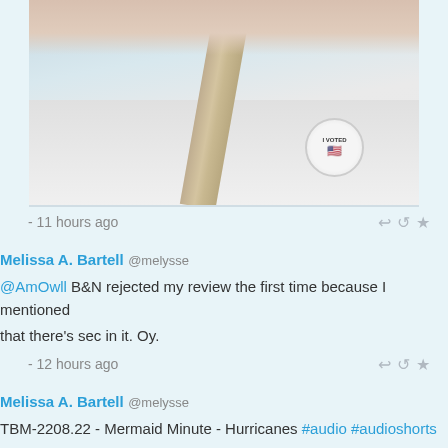[Figure (photo): Photo of a person wearing a white shirt with an 'I Voted' sticker, with a seatbelt strap across them]
- 11 hours ago
Melissa A. Bartell @melysse
@AmOwll B&N rejected my review the first time because I mentioned that there's sec in it. Oy.
- 12 hours ago
Melissa A. Bartell @melysse
TBM-2208.22 - Mermaid Minute - Hurricanes #audio #audioshorts #bathtubmermaid #mermaidminute #ddop #dogdaysofpodcasting